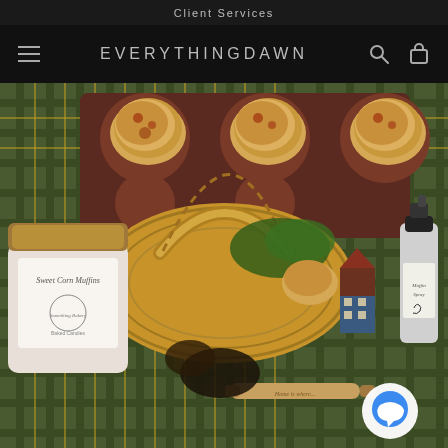Client Services
EVERYTHINGDAWN
[Figure (photo): A wicker basket gift set on a green and black plaid cloth containing a muffin tin with sweet corn muffins, a jar labeled 'Sweet Corn Muffins' from Something Bakery, a silver spray bottle labeled 'Muffin Spray', a small wooden house figurine, a rolling pin, and other bakery items.]